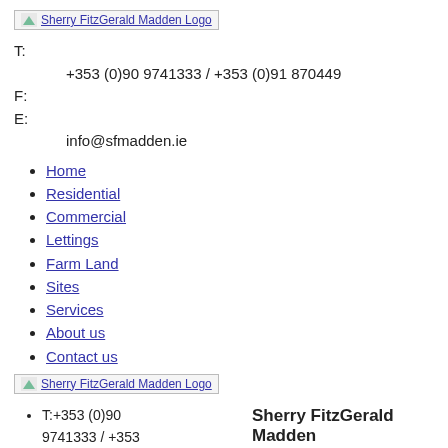[Figure (logo): Sherry FitzGerald Madden Logo image link]
T:
+353 (0)90 9741333 / +353 (0)91 870449
F:
E:
info@sfmadden.ie
Home
Residential
Commercial
Lettings
Farm Land
Sites
Services
About us
Contact us
[Figure (logo): Sherry FitzGerald Madden Logo image link (second instance)]
T:+353 (0)90 9741333 / +353 (0)91 870449
F:
W:www.cva.ie
Sherry FitzGerald Madden